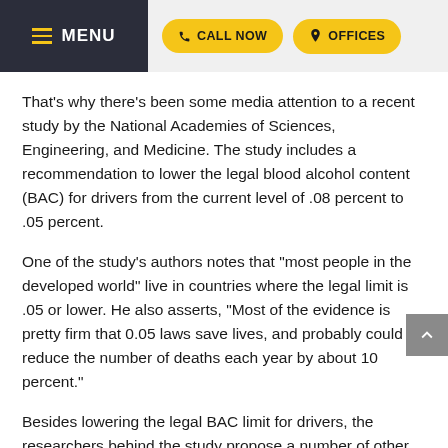MENU | CALL NOW | OFFICES
That's why there's been some media attention to a recent study by the National Academies of Sciences, Engineering, and Medicine. The study includes a recommendation to lower the legal blood alcohol content (BAC) for drivers from the current level of .08 percent to .05 percent.
One of the study’s authors notes that “most people in the developed world” live in countries where the legal limit is .05 or lower. He also asserts, “Most of the evidence is pretty firm that 0.05 laws save lives, and probably could reduce the number of deaths each year by about 10 percent.”
Besides lowering the legal BAC limit for drivers, the researchers behind the study propose a number of other changes that they say would reduce drunk driving. These include: